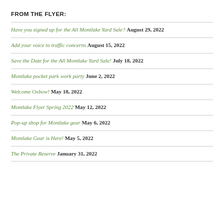FROM THE FLYER:
Have you signed up for the All Montlake Yard Sale? August 29, 2022
Add your voice to traffic concerns August 15, 2022
Save the Date for the All Montlake Yard Sale! July 18, 2022
Montlake pocket park work party June 2, 2022
Welcome Oxbow! May 18, 2022
Montlake Flyer Spring 2022 May 12, 2022
Pop-up shop for Montlake gear May 6, 2022
Montlake Gear is Here! May 5, 2022
The Private Reserve January 31, 2022